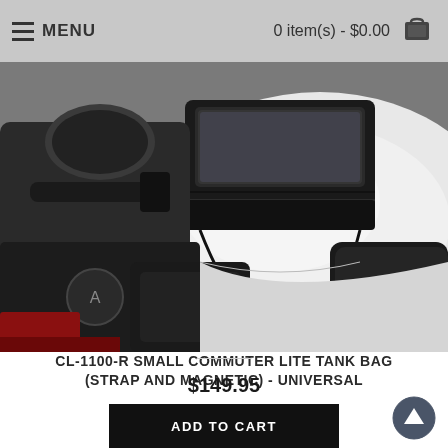MENU   0 item(s) - $0.00
[Figure (photo): Motorcycle tank bag mounted on a white motorcycle, shown on the fuel tank area. The bag is black with multiple compartments including a clear top section. Motorcycle controls and mirrors visible on the left side.]
CL-1100-R SMALL COMMUTER LITE TANK BAG (STRAP AND MAGNETIC) - UNIVERSAL
$149.95
ADD TO CART